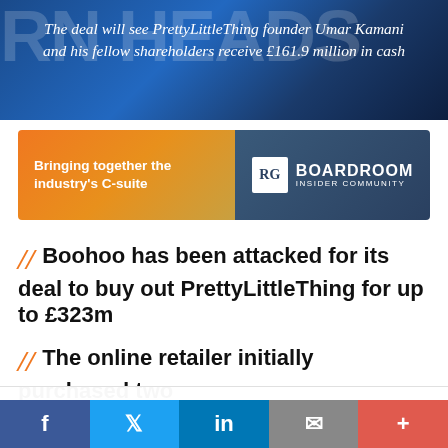[Figure (photo): News article header image with blue background showing partial text 'RN HEADS' and italic white caption text about PrettyLittleThing deal]
The deal will see PrettyLittleThing founder Umar Kamani and his fellow shareholders receive £161.9 million in cash
[Figure (infographic): Boardroom Insider Community advertisement banner with orange and dark blue gradient, text: Bringing together the industry's C-suite]
// Boohoo has been attacked for its deal to buy out PrettyLittleThing for up to £323m
// The online retailer initially purchased two
This website uses cookies to improve your experience. By continuing to browse the site you are agreeing to our use of cookies. To find out more please read our privacy policy
Accept - To find out more: Read our updated privacy
[Figure (infographic): Social media share buttons footer: Facebook, Twitter, LinkedIn, Email, More]